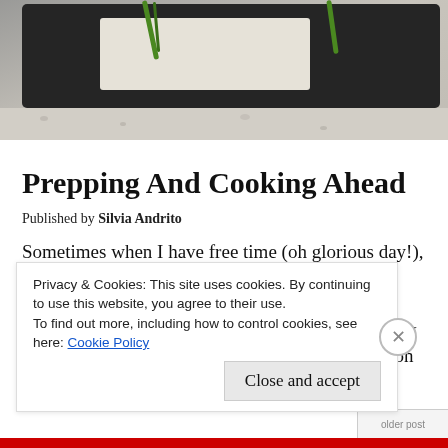[Figure (photo): Top portion of a cutting board on a granite countertop, with green vegetable stems visible]
Prepping And Cooking Ahead
Published by Silvia Andrito
Sometimes when I have free time (oh glorious day!), usually on a Sunday afternoon, I like to do some prep and cook a few things ahead for the week. It makes my life way easier later on if I can get all my veggies cleaned and cut, if I can portion and season my meats a... a... 1...
Privacy & Cookies: This site uses cookies. By continuing to use this website, you agree to their use.
To find out more, including how to control cookies, see here: Cookie Policy
Close and accept